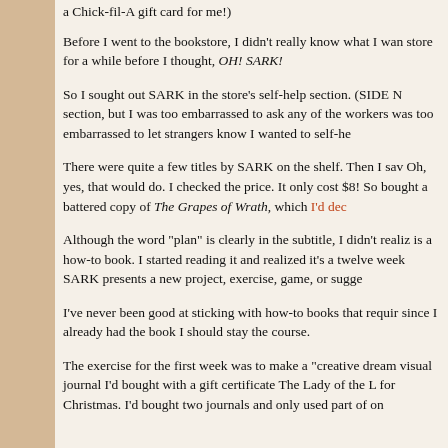a Chick-fil-A gift card for me!)
Before I went to the bookstore, I didn't really know what I wan... store for a while before I thought, OH! SARK!
So I sought out SARK in the store's self-help section. (SIDE N... section, but I was too embarrassed to ask any of the workers... was too embarrassed to let strangers know I wanted to self-he...
There were quite a few titles by SARK on the shelf. Then I sa... Oh, yes, that would do. I checked the price. It only cost $8! So... bought a battered copy of The Grapes of Wrath, which I'd dec...
Although the word “plan” is clearly in the subtitle, I didn't realiz... is a how-to book. I started reading it and realized it’s a twelve... week SARK presents a new project, exercise, game, or sugge...
I've never been good at sticking with how-to books that requir... since I already had the book I should stay the course.
The exercise for the first week was to make a “creative dream... visual journal I’d bought with a gift certificate The Lady of the L... for Christmas. I’d bought two journals and only used part of on...